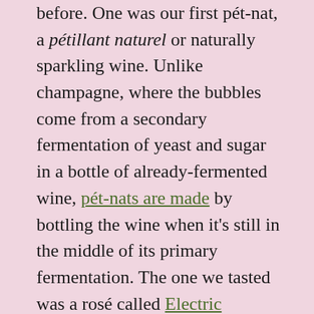before. One was our first pét-nat, a pétillant naturel or naturally sparkling wine. Unlike champagne, where the bubbles come from a secondary fermentation of yeast and sugar in a bottle of already-fermented wine, pét-nats are made by bottling the wine when it's still in the middle of its primary fermentation. The one we tasted was a rosé called Electric Lightning, made under Vinovore's own label in Emilia-Romagna, Italy. It had a refreshing, yeasty flavor that reminded us of beer.
The wine pictured at the top of this post was another first: our first bottle from the country of Georgia. It was made from two indigenous grapes, Kisi and Kakhuri Mtsvani — hence its name, "Kiss of Kakhuri Mtsvani" — and fermented in traditional earthenware vessels called qvevri. Although these